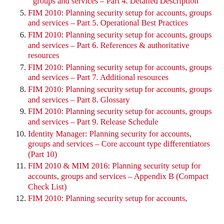groups and services – Part 4. Detailed Description
5. FIM 2010: Planning security setup for accounts, groups and services – Part 5. Operational Best Practices
6. FIM 2010: Planning security setup for accounts, groups and services – Part 6. References & authoritative resources
7. FIM 2010: Planning security setup for accounts, groups and services – Part 7. Additional resources
8. FIM 2010: Planning security setup for accounts, groups and services – Part 8. Glossary
9. FIM 2010: Planning security setup for accounts, groups and services – Part 9. Release Schedule
10. Identity Manager: Planning security for accounts, groups and services – Core account type differentiators (Part 10)
11. FIM 2010 & MIM 2016: Planning security setup for accounts, groups and services – Appendix B (Compact Check List)
12. FIM 2010: Planning security setup for accounts,